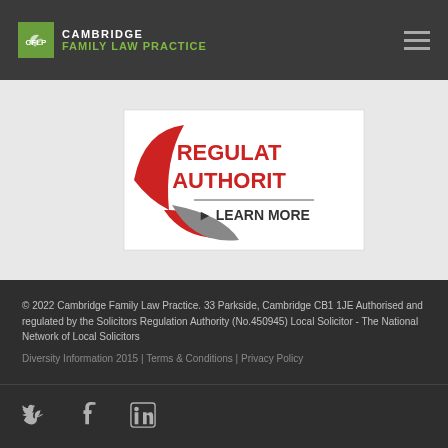[Figure (logo): Cambridge Family Law Practice logo with green leaf icon, white CAMBRIDGE text and green FAMILY LAW PRACTICE text]
[Figure (logo): Solicitors Regulation Authority badge partially visible, red and grey logo with REGUL... AUTHORIT... and LEARN MORE text]
© 2022 Cambridge Family Law Practice. 33 Parkside, Cambridge CB1 1JE Authorised and regulated by the Solicitors Regulation Authority (No.450945) Local Solicitor - The National Network of Local Solicitors
Diversity Information 2015 | Terms & Conditions | Privacy Policy
[Figure (other): Social media icons: Twitter bird, Facebook f, LinkedIn in]